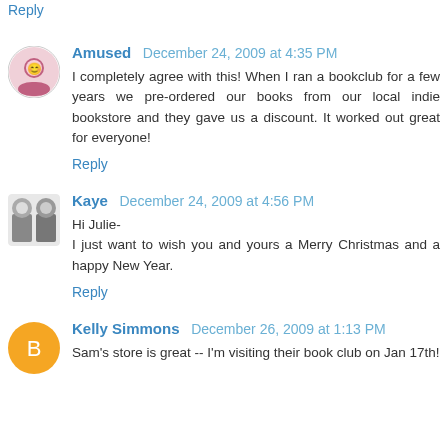Reply
Amused  December 24, 2009 at 4:35 PM
I completely agree with this! When I ran a bookclub for a few years we pre-ordered our books from our local indie bookstore and they gave us a discount. It worked out great for everyone!
Reply
Kaye  December 24, 2009 at 4:56 PM
Hi Julie-
I just want to wish you and yours a Merry Christmas and a happy New Year.
Reply
Kelly Simmons  December 26, 2009 at 1:13 PM
Sam's store is great -- I'm visiting their book club on Jan 17th!